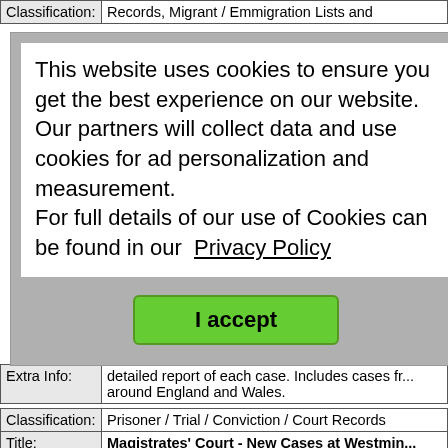| Classification: | Records, Migrant / Emmigration Lists and |
| --- | --- |
This website uses cookies to ensure you get the best experience on our website.
Our partners will collect data and use cookies for ad personalization and measurement.
For full details of our use of Cookies can be found in our Privacy Policy
I accept
| Extra Info: | detailed report of each case. Includes cases fr... around England and Wales. |
| --- | --- |
| Classification: | Prisoner / Trial / Conviction / Court Records |
| --- | --- |
| Title: | Magistrates' Court - New Cases at Westmin... |
| Link: | https://archive.org/details/reportsnewmagis01c... |
| Description: | Magistrates' Court - New Cases at Westminste... 1846-1847 |
| Extra Info: | Online book. Index of cases, followed by a mo... detailed report of each case. Includes cases fr... around England and Wales. |